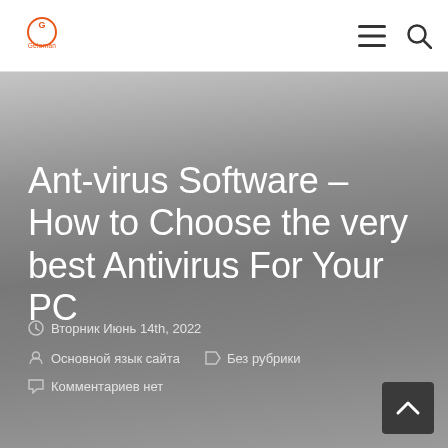Geleman [logo] ≡ 🔍
Ant-virus Software – How to Choose the very best Antivirus For Your PC
🕐 Вторник Июнь 14th, 2022
👤 Основной язык сайта    📁 Без рубрики
💬 Комментариев нет